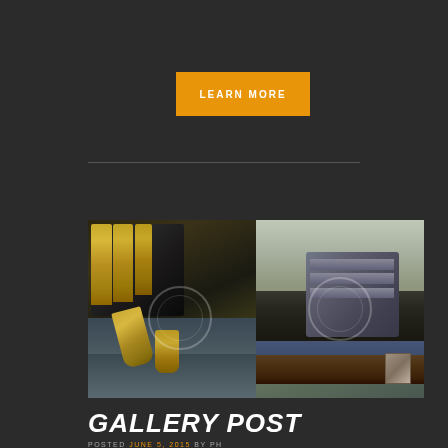LEARN MORE
[Figure (photo): Two side-by-side photos: left shows bullets and a gun magazine on a surface; right shows a handgun tucked into a waistband/holster with a belt.]
GALLERY POST
POSTED JUNE 5, 2015 by PH